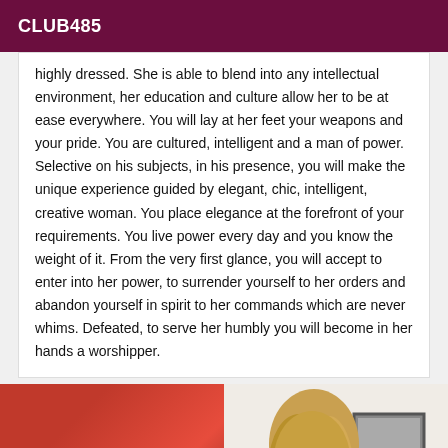CLUB485
highly dressed. She is able to blend into any intellectual environment, her education and culture allow her to be at ease everywhere. You will lay at her feet your weapons and your pride. You are cultured, intelligent and a man of power. Selective on his subjects, in his presence, you will make the unique experience guided by elegant, chic, intelligent, creative woman. You place elegance at the forefront of your requirements. You live power every day and you know the weight of it. From the very first glance, you will accept to enter into her power, to surrender yourself to her orders and abandon yourself in spirit to her commands which are never whims. Defeated, to serve her humbly you will become in her hands a worshipper.
[Figure (photo): Two side-by-side photos: left shows a red surface/garment, right shows a blonde woman from behind near a framed picture on a white wall.]